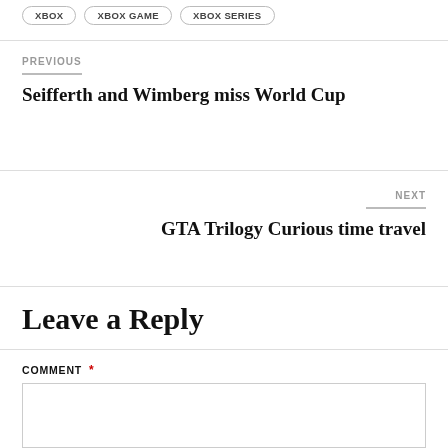XBOX   XBOX GAME   XBOX SERIES
PREVIOUS
Seifferth and Wimberg miss World Cup
NEXT
GTA Trilogy Curious time travel
Leave a Reply
COMMENT *